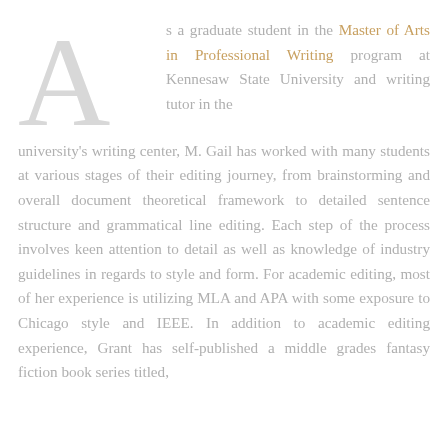As a graduate student in the Master of Arts in Professional Writing program at Kennesaw State University and writing tutor in the university's writing center, M. Gail has worked with many students at various stages of their editing journey, from brainstorming and overall document theoretical framework to detailed sentence structure and grammatical line editing. Each step of the process involves keen attention to detail as well as knowledge of industry guidelines in regards to style and form. For academic editing, most of her experience is utilizing MLA and APA with some exposure to Chicago style and IEEE. In addition to academic editing experience, Grant has self-published a middle grades fantasy fiction book series titled,